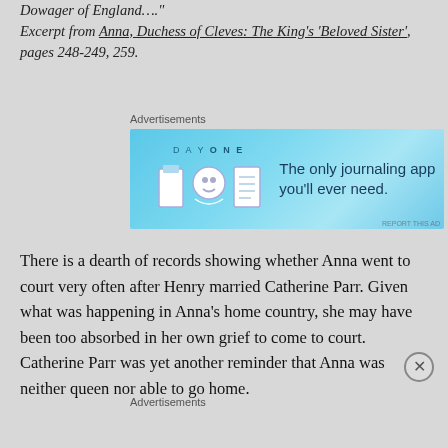Dowager of England…."
Excerpt from Anna, Duchess of Cleves: The King's 'Beloved Sister', pages 248-249, 259.
Advertisements
[Figure (screenshot): Day One app advertisement — blue background with icons and text 'The only journaling app you'll ever need.']
There is a dearth of records showing whether Anna went to court very often after Henry married Catherine Parr. Given what was happening in Anna's home country, she may have been too absorbed in her own grief to come to court. Catherine Parr was yet another reminder that Anna was neither queen nor able to go home.
Advertisements